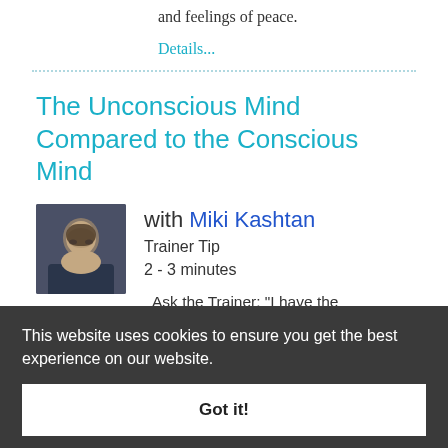and feelings of peace.
Details...
The Unconscious Mind Compared to the Conscious Mind
with Miki Kashtan
Trainer Tip
2 - 3 minutes
Ask the Trainer: "I have the understanding that the
This website uses cookies to ensure you get the best experience on our website.
Got it!